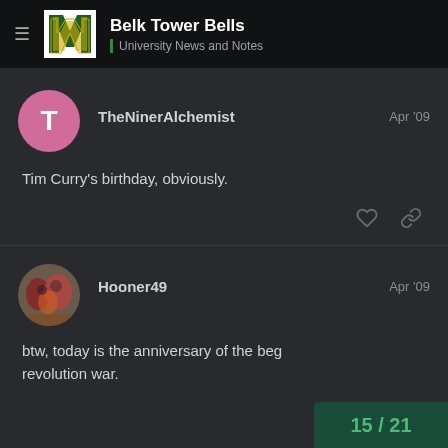Belk Tower Bells — University News and Notes
TheNinerAlchemist — Apr '09
Tim Curry's birthday, obviously.
Hooner49 — Apr '09
btw, today is the anniversary of the beg revolution war.
15 / 21